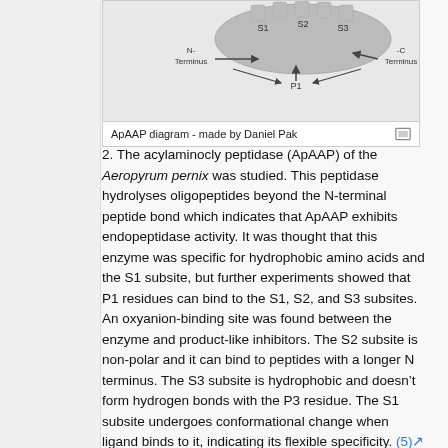[Figure (schematic): ApAAP diagram showing S1, S2, S3 subsites with N-Terminus and C-Terminus labeled, and P1 indicated. Made by Daniel Pak.]
ApAAP diagram - made by Daniel Pak
2. The acylaminocly peptidase (ApAAP) of the Aeropyrum pernix was studied. This peptidase hydrolyses oligopeptides beyond the N-terminal peptide bond which indicates that ApAAP exhibits endopeptidase activity. It was thought that this enzyme was specific for hydrophobic amino acids and the S1 subsite, but further experiments showed that P1 residues can bind to the S1, S2, and S3 subsites. An oxyanion-binding site was found between the enzyme and product-like inhibitors. The S2 subsite is non-polar and it can bind to peptides with a longer N terminus. The S3 subsite is hydrophobic and doesn't form hydrogen bonds with the P3 residue. The S1 subsite undergoes conformational change when ligand binds to it, indicating its flexible specificity. (5) Diagram to the right